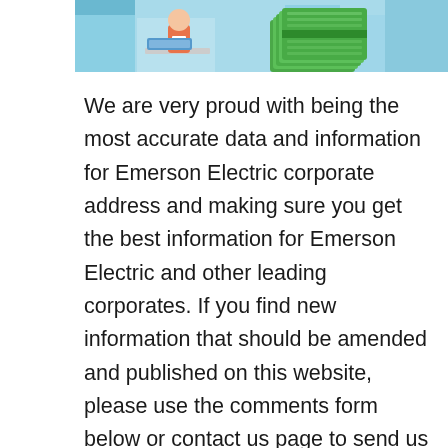[Figure (illustration): Partial illustration showing a cartoon person at a desk/computer on the left and a stack of green money/cash bundles on the right, set against a light blue background. Only the lower portion of the illustration is visible.]
We are very proud with being the most accurate data and information for Emerson Electric corporate address and making sure you get the best information for Emerson Electric and other leading corporates. If you find new information that should be amended and published on this website, please use the comments form below or contact us page to send us the information.